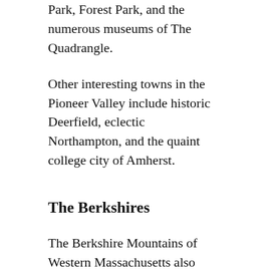Park, Forest Park, and the numerous museums of The Quadrangle.
Other interesting towns in the Pioneer Valley include historic Deerfield, eclectic Northampton, and the quaint college city of Amherst.
The Berkshires
The Berkshire Mountains of Western Massachusetts also called the Berkshire Hills or simply the Berkshires, offer rural charm and stunning mountain views. The area boasts a huge number of recreational and leisure options, including the Jiminy Peak Resort in